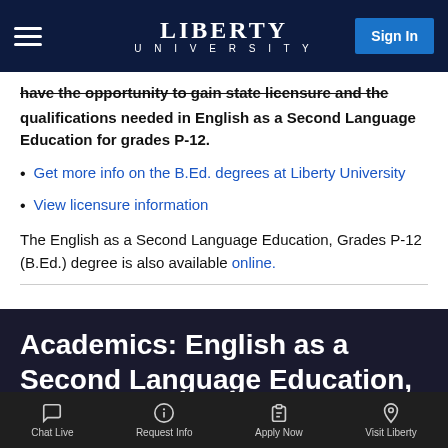Liberty University — Sign In
have the opportunity to gain state licensure and the qualifications needed in English as a Second Language Education for grades P-12.
Get more info on the B.Ed. degrees at Liberty University
View licensure information
The English as a Second Language Education, Grades P-12 (B.Ed.) degree is also available online.
Academics: English as a Second Language Education, Grades P-
Chat Live  Request Info  Apply Now  Visit Liberty